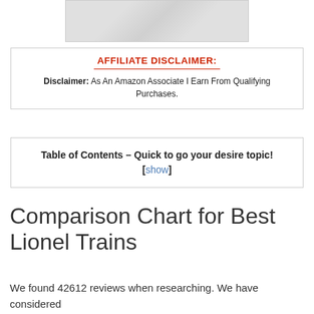[Figure (photo): Product image showing model train tracks and a freight car]
AFFILIATE DISCLAIMER: Disclaimer: As An Amazon Associate I Earn From Qualifying Purchases.
Table of Contents – Quick to go your desire topic! [show]
Comparison Chart for Best Lionel Trains
We found 42612 reviews when researching. We have considered